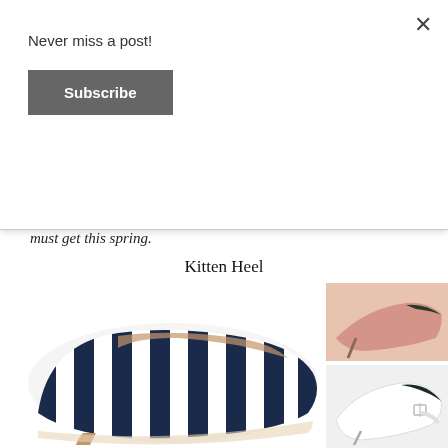Never miss a post!
Subscribe
must get this spring.
Kitten Heel
[Figure (photo): Three photos of kitten heel shoes: a large navy and white striped kitten heel pump on the left, and two smaller photos on the right showing a pink and dark green slingback kitten heel (top) and a white slingback kitten heel with buckle detail (bottom).]
Your feet will rejoice when you slip them into these comfy kitten heels. Kitten heels are